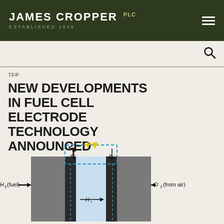JAMES CROPPER PLC ESTABLISHED 1845
TFP
NEW DEVELOPMENTS IN FUEL CELL ELECTRODE TECHNOLOGY ANNOUNCED
[Figure (engineering-diagram): Fuel cell diagram showing H2 (fuel) on left entering anode, O2 (from air) on right entering cathode, H+ protons moving through membrane, electrons (e-) flowing up from anode and down to cathode through external circuit indicated by dashed blue rectangle, with yellow arrow symbols at top indicating current direction.]